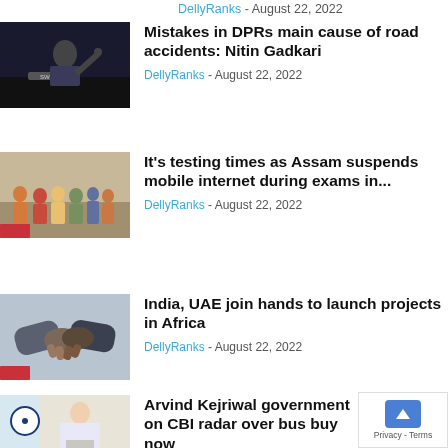DellyRanks - August 22, 2022
[Figure (photo): Speaker at podium with hand raised, dark background, SWITCH sign visible]
Mistakes in DPRs main cause of road accidents: Nitin Gadkari
DellyRanks - August 22, 2022
[Figure (photo): Group of people walking on a street, some in colorful shirts]
It's testing times as Assam suspends mobile internet during exams in...
DellyRanks - August 22, 2022
[Figure (photo): Two people shaking hands in business attire]
India, UAE join hands to launch projects in Africa
DellyRanks - August 22, 2022
[Figure (photo): Man in white shirt seated at desk with Indian flag, hands clasped]
Arvind Kejriwal government on CBI radar over bus buy now
DellyRanks - August 22, 2022